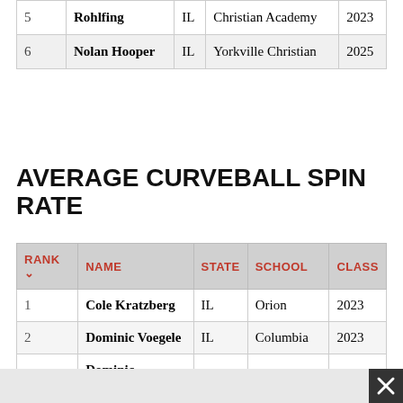| RANK | NAME | STATE | SCHOOL | CLASS |
| --- | --- | --- | --- | --- |
| 5 | Rohlfing | IL | Christian Academy | 2023 |
| 6 | Nolan Hooper | IL | Yorkville Christian | 2025 |
AVERAGE CURVEBALL SPIN RATE
| RANK | NAME | STATE | SCHOOL | CLASS |
| --- | --- | --- | --- | --- |
| 1 | Cole Kratzberg | IL | Orion | 2023 |
| 2 | Dominic Voegele | IL | Columbia | 2023 |
| 3 | Dominic Stringham | IL | Oswego | 2024 |
| 4 | Josh Polubinski | IL | Oswego East | 2023 |